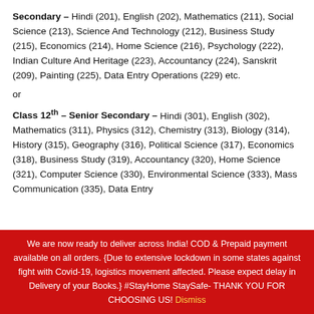Secondary – Hindi (201), English (202), Mathematics (211), Social Science (213), Science And Technology (212), Business Study (215), Economics (214), Home Science (216), Psychology (222), Indian Culture And Heritage (223), Accountancy (224), Sanskrit (209), Painting (225), Data Entry Operations (229) etc. or
Class 12th – Senior Secondary – Hindi (301), English (302), Mathematics (311), Physics (312), Chemistry (313), Biology (314), History (315), Geography (316), Political Science (317), Economics (318), Business Study (319), Accountancy (320), Home Science (321), Computer Science (330), Environmental Science (333), Mass Communication (335), Data Entry
We are now ready to deliver across India! COD & Prepaid payment available on all orders. {Due to extensive lockdown in some states against fight with Covid-19, logistics movement affected. Please expect delay in Delivery of your Books.} #StayHome StaySafe- THANK YOU FOR CHOOSING US! Dismiss